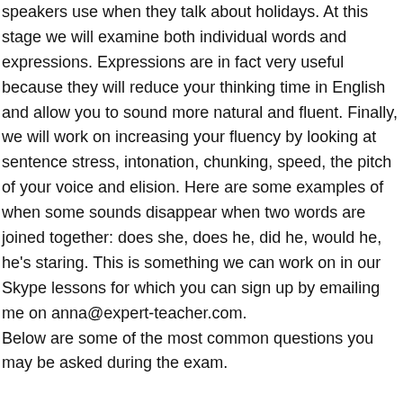speakers use when they talk about holidays. At this stage we will examine both individual words and expressions. Expressions are in fact very useful because they will reduce your thinking time in English and allow you to sound more natural and fluent. Finally, we will work on increasing your fluency by looking at sentence stress, intonation, chunking, speed, the pitch of your voice and elision. Here are some examples of when some sounds disappear when two words are joined together: does she, does he, did he, would he, he's staring. This is something we can work on in our Skype lessons for which you can sign up by emailing me on anna@expert-teacher.com.
Below are some of the most common questions you may be asked during the exam.